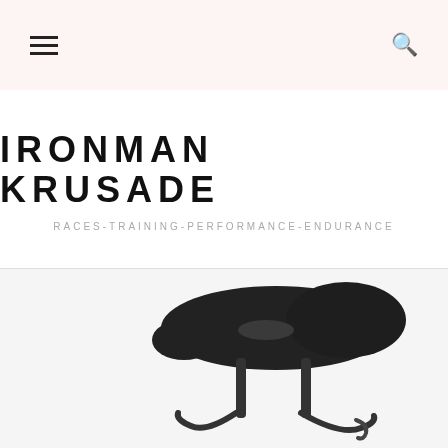IRONMAN KRUSADE — navigation header with hamburger menu and search icon
IRONMAN KRUSADE
RACES-TRAINING-PERFORMANCE-ENDURANCE
[Figure (photo): Close-up photo of a black bicycle saddle (seat) with a cutout channel, shot from above on a white background, cropped so only the top portion is visible]